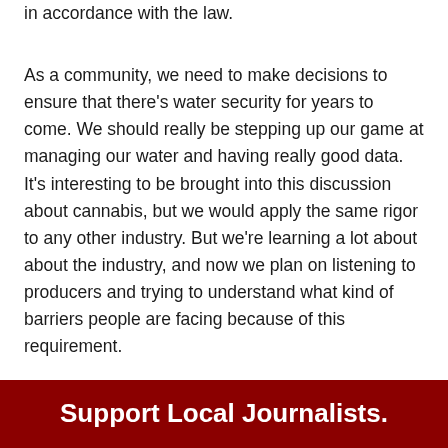in accordance with the law.
As a community, we need to make decisions to ensure that there's water security for years to come. We should really be stepping up our game at managing our water and having really good data. It's interesting to be brought into this discussion about cannabis, but we would apply the same rigor to any other industry. But we're learning a lot about about the industry, and now we plan on listening to producers and trying to understand what kind of barriers people are facing because of this requirement.
Support Local Journalists.